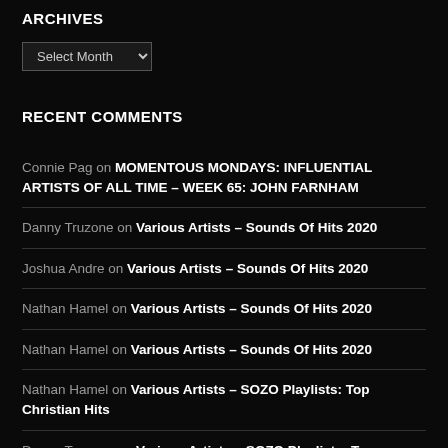ARCHIVES
Select Month
RECENT COMMENTS
Connie Pag on MOMENTOUS MONDAYS: INFLUENTIAL ARTISTS OF ALL TIME – WEEK 65: JOHN FARNHAM
Danny Truzone on Various Artists – Sounds Of Hits 2020
Joshua Andre on Various Artists – Sounds Of Hits 2020
Nathan Hamel on Various Artists – Sounds Of Hits 2020
Nathan Hamel on Various Artists – Sounds Of Hits 2020
Nathan Hamel on Various Artists – SOZO Playlists: Top Christian Hits
Danny Truzone on Various Artists – SOZO Playlists: Top Christian Hits